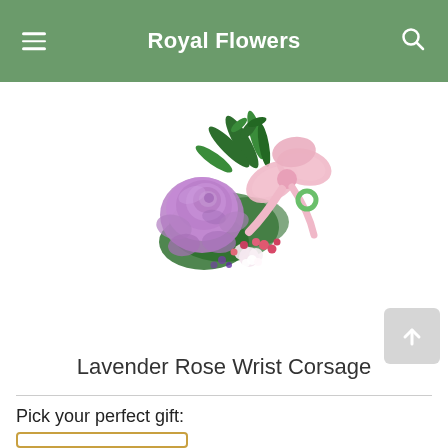Royal Flowers
[Figure (photo): A lavender/purple rose wrist corsage with pink satin ribbon bow, small white wax flowers with pink berries, and green fern leaves, arranged on a white background.]
Lavender Rose Wrist Corsage
Pick your perfect gift: